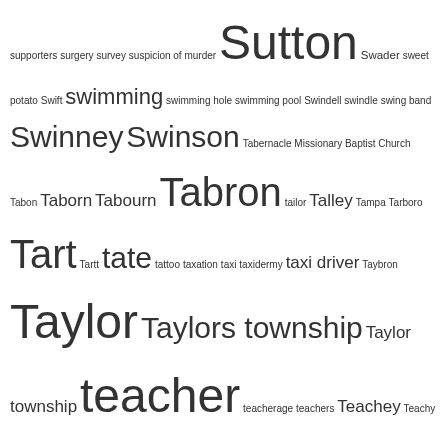[Figure (other): Tag cloud / word cloud containing index terms related to topics starting with letters S-T, with varying font sizes indicating frequency or importance. Terms include: supporters, surgery, survey, suspicion of murder, Sutton, Swader, sweet potato, Swift, swimming, swimming hole, swimming pool, Swindell, swindle, swing band, Swinney, Swinson, Tabernacle Missionary Baptist Church, Tabon, Taborn, Tabourn, Tabron, tailor, Talley, Tampa, Tarboro, Tart, Tartt, tate, tattoo, taxation, taxi, taxidermy, taxi driver, Taybron, Taylor, Taylors township, Taylor township, teacher, teacherage, teachers, Teachey, Teachy, teamster, Tedder, teenager, telegram, tenant, tenant farmer, tenant housing, tenement, tenor, Terrell, territory band, testimonial, testimony, thanks, Thanksgiving, theatre, theft, The Green Book, Thomas, Thompson, Thorn, Thorne, Thorp, Thorpe, Tillery, timeline, Tinsley, Toad Town, tobacco, tobacco barn, tobacco company, tobacco culture, tobacco factory, tobacco farmer, tobacco market, tobacco stick, tobacco warehouse, tobacco workers, Tobacco Workers International Union, Toisnot Depot, Toisnot Primitive Baptist Church, Toisnot Swamp, Toisnot township, tomato canning, Tomlin, Tomlinson, topographic map, tornado, tour, tourism, Towe, Tower, town commissioners]